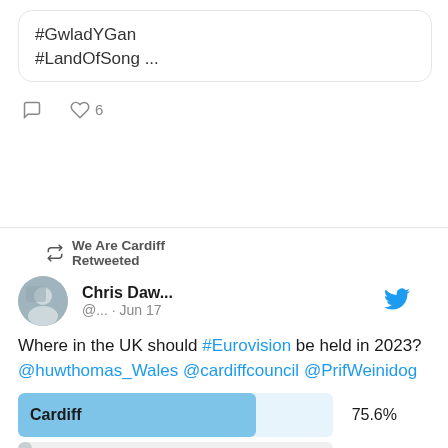#GwladYGan #LandOfSong ...
❤ 6
We Are Cardiff Retweeted
Chris Daw... @... · Jun 17
Where in the UK should #Eurovision be held in 2023? @huwthomas_Wales @cardiffcouncil @PrifWeinidog
[Figure (bar-chart): Twitter Poll - Where in the UK should Eurovision be held in 2023?]